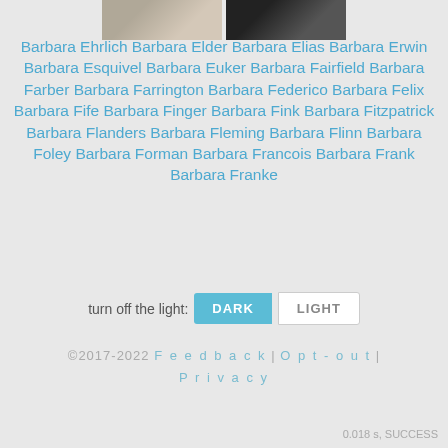[Figure (photo): Two small portrait photos side by side at the top of the page]
Barbara Ehrlich Barbara Elder Barbara Elias Barbara Erwin Barbara Esquivel Barbara Euker Barbara Fairfield Barbara Farber Barbara Farrington Barbara Federico Barbara Felix Barbara Fife Barbara Finger Barbara Fink Barbara Fitzpatrick Barbara Flanders Barbara Fleming Barbara Flinn Barbara Foley Barbara Forman Barbara Francois Barbara Frank Barbara Franke
turn off the light: DARK LIGHT
©2017-2022 Feedback | Opt-out | Privacy
0.018 s, SUCCESS